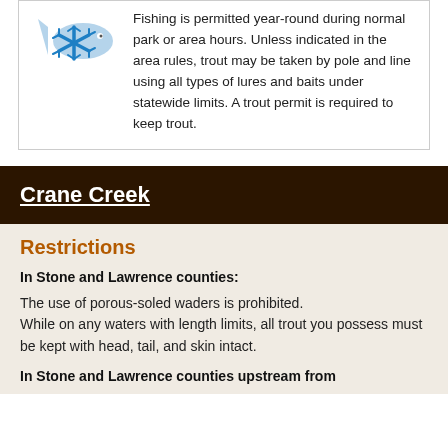[Figure (illustration): Blue fish silhouette with a blue snowflake icon overlaid on it, indicating year-round or winter fishing]
Fishing is permitted year-round during normal park or area hours. Unless indicated in the area rules, trout may be taken by pole and line using all types of lures and baits under statewide limits. A trout permit is required to keep trout.
Crane Creek
Restrictions
In Stone and Lawrence counties:
The use of porous-soled waders is prohibited. While on any waters with length limits, all trout you possess must be kept with head, tail, and skin intact.
In Stone and Lawrence counties upstream from